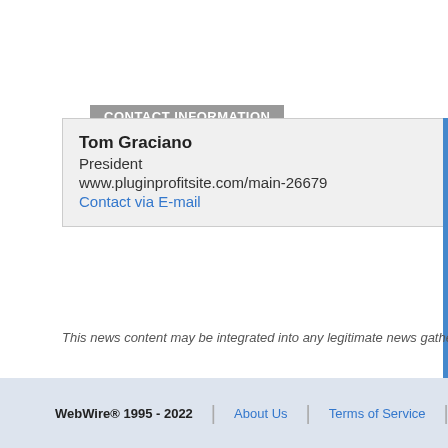CONTACT INFORMATION
Tom Graciano
President
www.pluginprofitsite.com/main-26679
Contact via E-mail
This news content may be integrated into any legitimate news gatherin…
News Release Distribution and Press Release Distribution Serv…
WebWire® 1995 - 2022 | About Us | Terms of Service | P…